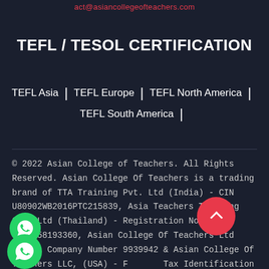act@asiancollegeofteachers.com
TEFL / TESOL CERTIFICATION
TEFL Asia | TEFL Europe | TEFL North America | TEFL South America |
© 2022 Asian College of Teachers. All Rights Reserved. Asian College Of Teachers is a trading brand of TTA Training Pvt. Ltd (India) - CIN U80902WB2016PTC215839, Asia Teachers Training Co., Ltd (Thailand) - Registration No. 0105558193360, Asian College Of Teachers Ltd (UK) - Company Number 9939942 & Asian College Of Teachers LLC, (USA) - Federal Tax Identification Number 30-1261596